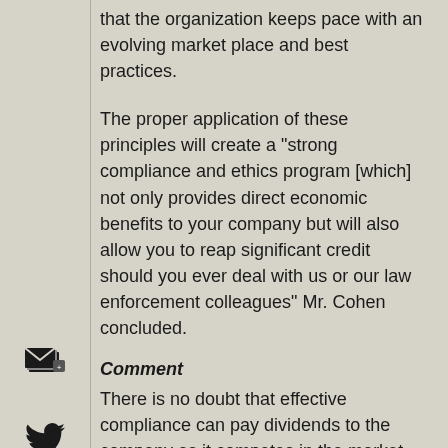that the organization keeps pace with an evolving market place and best practices.
The proper application of these principles will create a "strong compliance and ethics program [which] not only provides direct economic benefits to your company but will also allow you to reap significant credit should you ever deal with us or our law enforcement colleagues" Mr. Cohen concluded.
Comment
There is no doubt that effective compliance can pay dividends to the company as it competes in the market place and in resolving regulatory and law enforcement investigations. Nevertheless, today the critical component of every Commission and enforcement resolution seems to be the total amount of money paid,